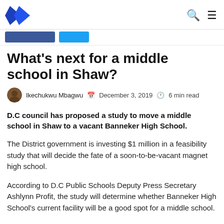Logo, search and menu icons
What's next for a middle school in Shaw?
Ikechukwu Mbagwu  December 3, 2019  6 min read
D.C council has proposed a study to move a middle school in Shaw to a vacant Banneker High School.
The District government is investing $1 million in a feasibility study that will decide the fate of a soon-to-be-vacant magnet high school.
According to D.C Public Schools Deputy Press Secretary Ashlynn Profit, the study will determine whether Banneker High School's current facility will be a good spot for a middle school.